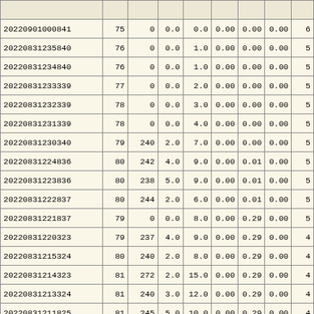| ID | Col2 | Col3 | Col4 | Col5 | Col6 | Col7 | Col8 | Col9 |
| --- | --- | --- | --- | --- | --- | --- | --- | --- |
| 20220901000841 | 75 | 0 | 0.0 | 0.0 | 0.00 | 0.00 | 0.00 | 6 |
| 20220831235840 | 76 | 0 | 0.0 | 1.0 | 0.00 | 0.00 | 0.00 | 5 |
| 20220831234840 | 76 | 0 | 0.0 | 1.0 | 0.00 | 0.00 | 0.00 | 5 |
| 20220831233339 | 77 | 0 | 0.0 | 2.0 | 0.00 | 0.00 | 0.00 | 5 |
| 20220831232339 | 78 | 0 | 0.0 | 3.0 | 0.00 | 0.00 | 0.00 | 5 |
| 20220831231339 | 78 | 0 | 0.0 | 4.0 | 0.00 | 0.00 | 0.00 | 5 |
| 20220831230340 | 79 | 240 | 2.0 | 7.0 | 0.00 | 0.00 | 0.00 | 5 |
| 20220831224836 | 80 | 242 | 4.0 | 9.0 | 0.00 | 0.01 | 0.00 | 5 |
| 20220831223836 | 80 | 238 | 5.0 | 9.0 | 0.00 | 0.01 | 0.00 | 5 |
| 20220831222837 | 80 | 244 | 2.0 | 6.0 | 0.00 | 0.01 | 0.00 | 5 |
| 20220831221837 | 79 | 0 | 0.0 | 8.0 | 0.00 | 0.29 | 0.00 | 5 |
| 20220831220323 | 79 | 237 | 4.0 | 9.0 | 0.00 | 0.29 | 0.00 | 4 |
| 20220831215324 | 80 | 240 | 2.0 | 8.0 | 0.00 | 0.29 | 0.00 | 4 |
| 20220831214323 | 81 | 272 | 2.0 | 15.0 | 0.00 | 0.29 | 0.00 | 4 |
| 20220831213324 | 81 | 240 | 3.0 | 12.0 | 0.00 | 0.29 | 0.00 | 4 |
| 20220831211825 | 81 | 245 | 5.0 | 10.0 | 0.00 | 0.29 | 0.00 | 4 |
| 20220831210825 | 81 | 270 | 4.0 | 10.0 | 0.00 | 0.29 | 0.00 | 4 |
| 20220831205824 | 81 | 289 | 5.0 | 12.0 | 0.00 | 0.29 | 0.00 | 4 |
| 20220831204825 | 81 | 289 | 5.0 | 12.0 | 0.00 | 0.29 | 0.00 | 4 |